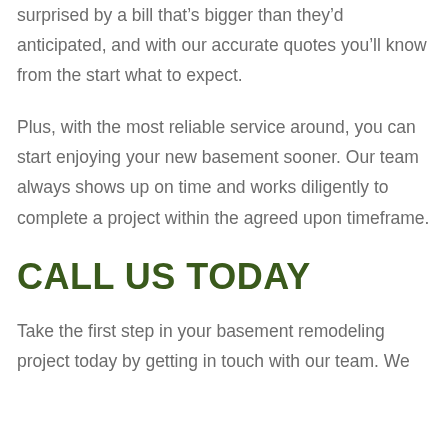surprised by a bill that's bigger than they'd anticipated, and with our accurate quotes you'll know from the start what to expect.
Plus, with the most reliable service around, you can start enjoying your new basement sooner. Our team always shows up on time and works diligently to complete a project within the agreed upon timeframe.
CALL US TODAY
Take the first step in your basement remodeling project today by getting in touch with our team. We